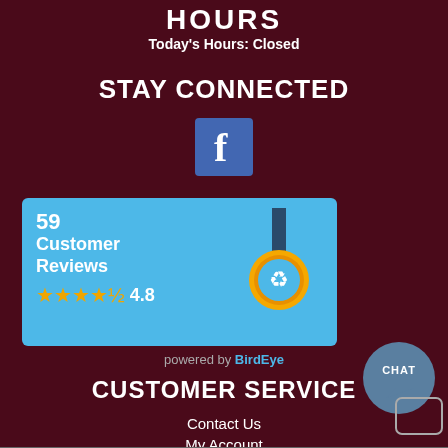HOURS
Today's Hours: Closed
STAY CONNECTED
[Figure (logo): Facebook icon – blue square with white f letter]
[Figure (infographic): BirdEye customer reviews widget showing 59 Customer Reviews with 4.8 star rating and medal badge on light blue background]
powered by BirdEye
CUSTOMER SERVICE
Contact Us
My Account
Privacy Policy
Terms of Service
Accessibility
Site Map